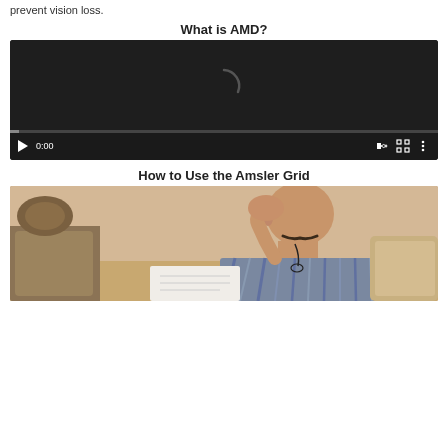prevent vision loss.
What is AMD?
[Figure (screenshot): Embedded video player with dark background showing a loading spinner arc, play button, time display 0:00, volume, fullscreen and more controls, with a progress bar at bottom.]
How to Use the Amsler Grid
[Figure (photo): A bald man with a mustache sitting on a couch, holding a piece of paper in one hand and covering one eye with the other hand, demonstrating how to use the Amsler Grid.]